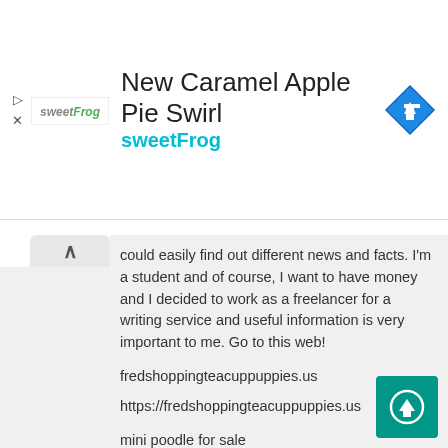[Figure (infographic): SweetFrog advertisement banner with logo, title 'New Caramel Apple Pie Swirl', subtitle 'sweetFrog', and a blue diamond navigation arrow icon on the right.]
could easily find out different news and facts. I'm a student and of course, I want to have money and I decided to work as a freelancer for a writing service and useful information is very important to me. Go to this web!
fredshoppingteacuppuppies.us
https://fredshoppingteacuppuppies.us
mini poodle for sale
teacup poodle for sale under $500
poodle puppies for sale near me
cavapoo puppies for adoption
cavapoo puppies for sale under $500
poodle puppies for sale
cavapoo puppies for sale
cavapoo puppies for sale near me